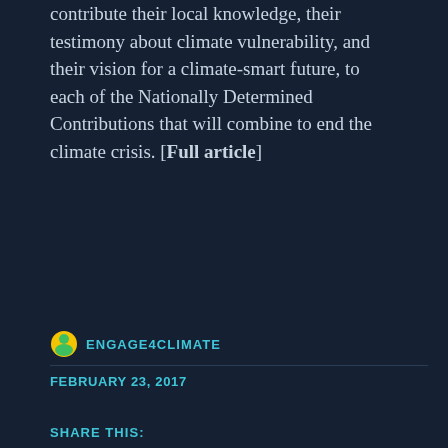contribute their local knowledge, their testimony about climate vulnerability, and their vision for a climate-smart future, to each of the Nationally Determined Contributions that will combine to end the climate crisis. [Full article]
ENGAGE4CLIMATE
FEBRUARY 23, 2017
SHARE THIS:
[Figure (infographic): Row of six circular social share buttons: Twitter (blue), Facebook (dark blue), LinkedIn (blue), WhatsApp (green), Pocket (red), Email (light grey)]
LIKE THIS:
LOADING...